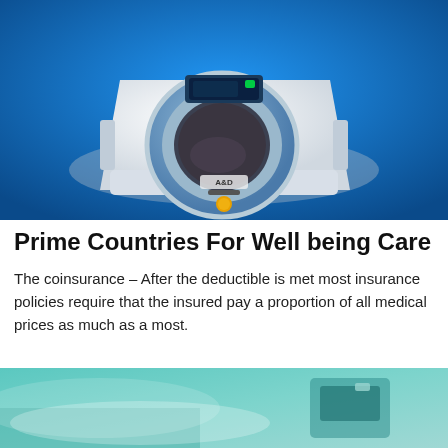[Figure (photo): A blood pressure monitoring machine (A&D brand) with a round blue cuff opening, white casing, and a digital display at the top, set against a blue background.]
Prime Countries For Well being Care
The coinsurance – After the deductible is met most insurance policies require that the insured pay a proportion of all medical prices as much as a most.
[Figure (photo): A partially visible medical scene showing what appears to be a patient and medical equipment in teal/green tones.]